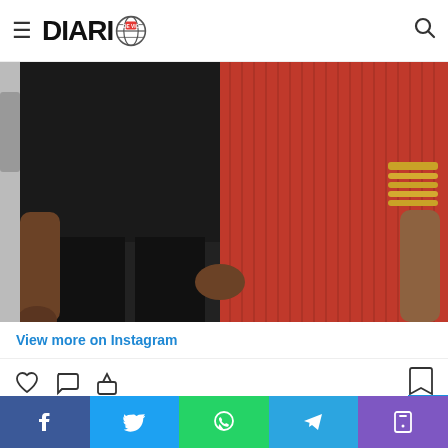DIARI DE VIC
[Figure (photo): Two people holding hands, one wearing a black outfit and black leather pants, the other wearing a red ribbed skirt with a gold bracelet. Photo is cropped at torso level.]
View more on Instagram
275 likes